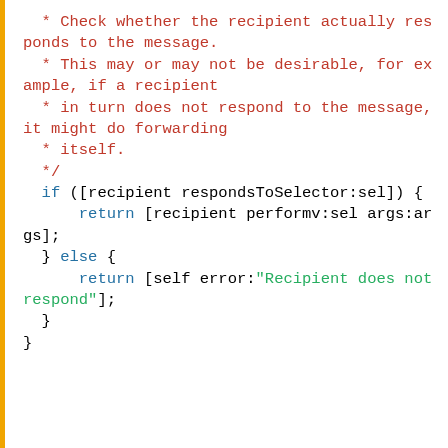* Check whether the recipient actually responds to the message.
  * This may or may not be desirable, for example, if a recipient
  * in turn does not respond to the message, it might do forwarding
  * itself.
  */
  if ([recipient respondsToSelector:sel]) {
      return [recipient performv:sel args:args];
  } else {
      return [self error:"Recipient does not respond"];
  }
}